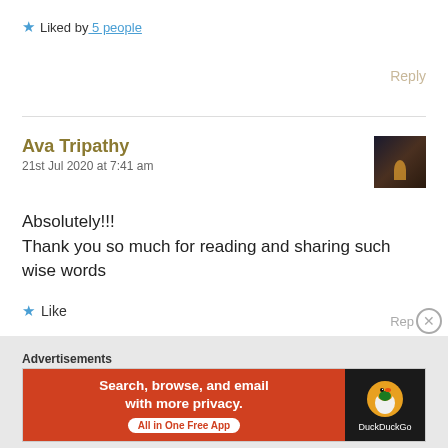★ Liked by 5 people
Reply
Ava Tripathy
21st Jul 2020 at 7:41 am
Absolutely!!!
Thank you so much for reading and sharing such wise words
★ Like
Advertisements
[Figure (screenshot): DuckDuckGo advertisement banner: orange left panel with text 'Search, browse, and email with more privacy. All in One Free App' and dark right panel with DuckDuckGo logo]